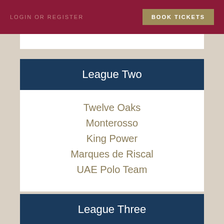LOGIN OR REGISTER    BOOK TICKETS
League Two
Twelve Oaks
Monterosso
King Power
Marques de Riscal
UAE Polo Team
League Three